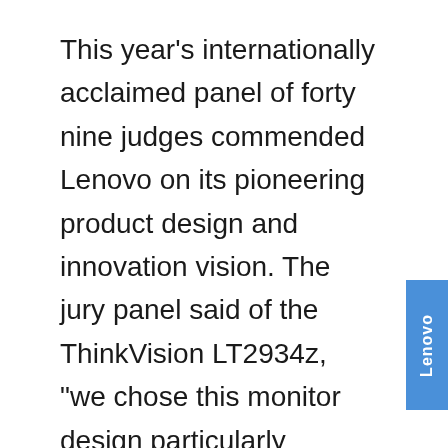This year's internationally acclaimed panel of forty nine judges commended Lenovo on its pioneering product design and innovation vision. The jury panel said of the ThinkVision LT2934z, "we chose this monitor design particularly because of the successful use of a landscape aspect, creating one dramatic single screen". The panel also highlighted the device's Think design language and individuality. Featuring a 29 inch AH-IPS LED backlit panel offering 33 per cent more viewing area than a traditional 16:9 screen, the